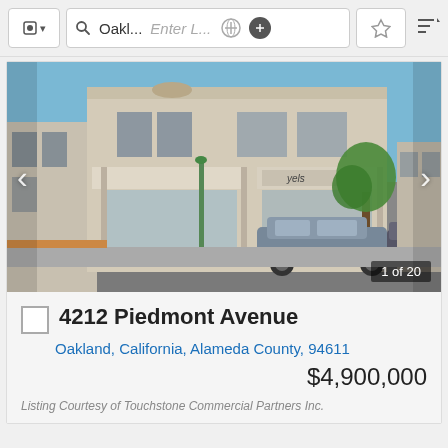[Figure (screenshot): App toolbar with search bar showing 'Oakl...' and placeholder 'Enter L...', navigation and filter icons]
[Figure (photo): Street-level photo of a two-story commercial building at 4212 Piedmont Avenue, Oakland. The building has retail storefronts including what appears to be a café and Yele restaurant. A green street tree and parked SUVs are visible. Photo counter shows 1 of 20.]
4212 Piedmont Avenue
Oakland, California, Alameda County, 94611
$4,900,000
Listing Courtesy of Touchstone Commercial Partners Inc.